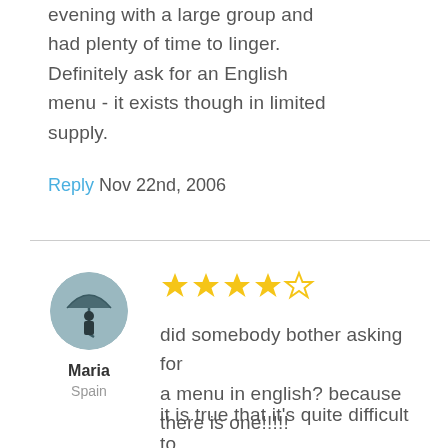evening with a large group and had plenty of time to linger. Definitely ask for an English menu - it exists though in limited supply.
Reply  Nov 22nd, 2006
[Figure (illustration): Circular avatar image of reviewer Maria showing a figure with umbrella]
Maria
Spain
[Figure (other): 4 out of 5 stars rating]
did somebody bother asking for a menu in english? because there is one!!!!!
it is true that it's quite difficult to find but what a discovery! decoration is very cute, food is absolutely fantastic, servings are